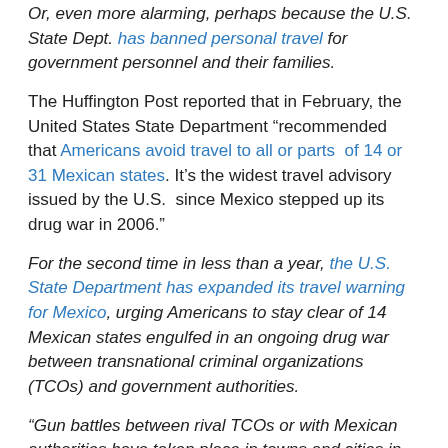Or, even more alarming, perhaps because the U.S. State Dept. has banned personal travel for government personnel and their families.
The Huffington Post reported that in February, the United States State Department "recommended that Americans avoid travel to all or parts of 14 or 31 Mexican states. It's the widest travel advisory issued by the U.S. since Mexico stepped up its drug war in 2006."
For the second time in less than a year, the U.S. State Department has expanded its travel warning for Mexico, urging Americans to stay clear of 14 Mexican states engulfed in an ongoing drug war between transnational criminal organizations (TCOs) and government authorities.
"Gun battles between rival TCOs or with Mexican authorities have taken place in towns and cities in many